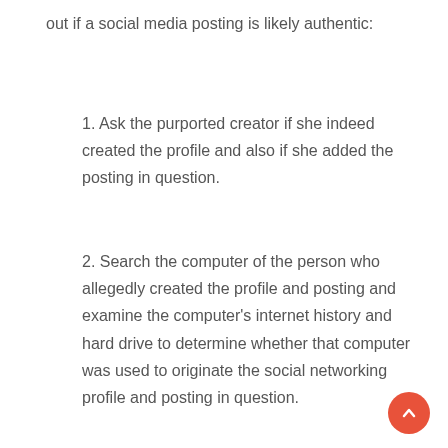out if a social media posting is likely authentic:
1. Ask the purported creator if she indeed created the profile and also if she added the posting in question.
2. Search the computer of the person who allegedly created the profile and posting and examine the computer’s internet history and hard drive to determine whether that computer was used to originate the social networking profile and posting in question.